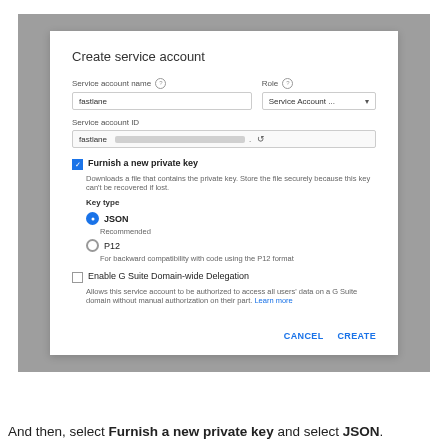[Figure (screenshot): Screenshot of Google Cloud 'Create service account' dialog showing fields for service account name (fastlane), Role (Service Account...), Service account ID (fastlane with blurred email), a checked 'Furnish a new private key' checkbox with Key type options (JSON selected, P12), and an unchecked 'Enable G Suite Domain-wide Delegation' checkbox, with CANCEL and CREATE buttons.]
And then, select Furnish a new private key and select JSON.